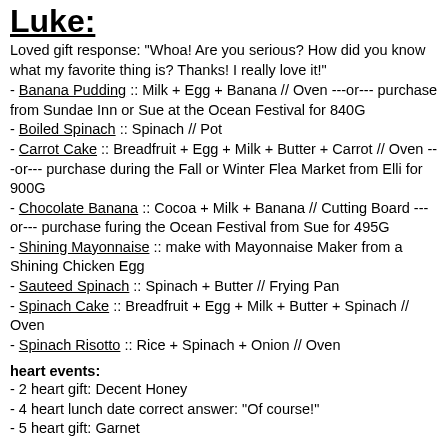Luke:
Loved gift response: "Whoa! Are you serious? How did you know what my favorite thing is? Thanks! I really love it!"
- Banana Pudding :: Milk + Egg + Banana // Oven ---or--- purchase from Sundae Inn or Sue at the Ocean Festival for 840G
- Boiled Spinach :: Spinach // Pot
- Carrot Cake :: Breadfruit + Egg + Milk + Butter + Carrot // Oven ---or--- purchase during the Fall or Winter Flea Market from Elli for 900G
- Chocolate Banana :: Cocoa + Milk + Banana // Cutting Board ---or--- purchase furing the Ocean Festival from Sue for 495G
- Shining Mayonnaise :: make with Mayonnaise Maker from a Shining Chicken Egg
- Sauteed Spinach :: Spinach + Butter // Frying Pan
- Spinach Cake :: Breadfruit + Egg + Milk + Butter + Spinach // Oven
- Spinach Risotto :: Rice + Spinach + Onion // Oven
heart events:
- 2 heart gift: Decent Honey
- 4 heart lunch date correct answer: "Of course!"
- 5 heart gift: Garnet